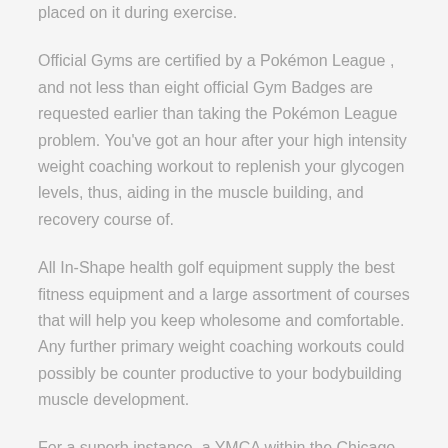placed on it during exercise.
Official Gyms are certified by a Pokémon League , and not less than eight official Gym Badges are requested earlier than taking the Pokémon League problem. You've got an hour after your high intensity weight coaching workout to replenish your glycogen levels, thus, aiding in the muscle building, and recovery course of.
All In-Shape health golf equipment supply the best fitness equipment and a large assortment of courses that will help you keep wholesome and comfortable. Any further primary weight coaching workouts could possibly be counter productive to your bodybuilding muscle development.
For a superb instance, a YMCA within the Chicago area as of September of 2015 was charging $25 a month for a primary membership for teens eleven to 18 and $24.99 a